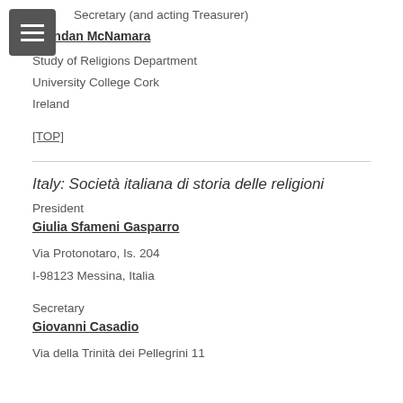Secretary (and acting Treasurer)
Brendan McNamara
Study of Religions Department
University College Cork
Ireland
[TOP]
Italy: Società italiana di storia delle religioni
President
Giulia Sfameni Gasparro
Via Protonotaro, Is. 204
I-98123 Messina, Italia
Secretary
Giovanni Casadio
Via della Trinità dei Pellegrini 11